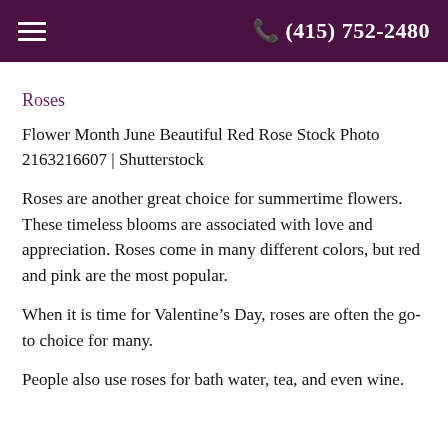(415) 752-2480
Roses
Flower Month June Beautiful Red Rose Stock Photo 2163216607 | Shutterstock
Roses are another great choice for summertime flowers. These timeless blooms are associated with love and appreciation. Roses come in many different colors, but red and pink are the most popular.
When it is time for Valentine’s Day, roses are often the go-to choice for many.
People also use roses for bath water, tea, and even wine.